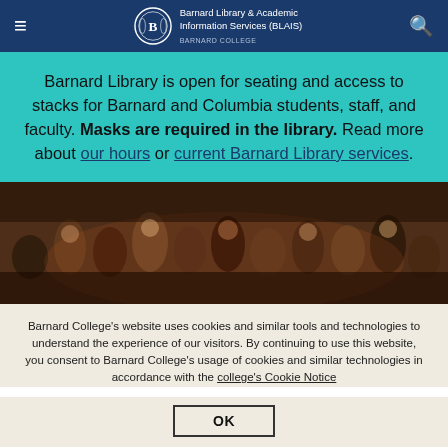Barnard Library & Academic Information Services (BLAIS) — BARNARD COLLEGE
Barnard Library is open for seating and access to stacks for Barnard and Columbia students, staff, and faculty. Masks are required in the library. Read more about our hours or current Barnard Library services.
[Figure (photo): Group photo of library staff and patrons standing together indoors, dimly lit warm setting]
Barnard College's website uses cookies and similar tools and technologies to understand the experience of our visitors. By continuing to use this website, you consent to Barnard College's usage of cookies and similar technologies in accordance with the college's Cookie Notice
OK